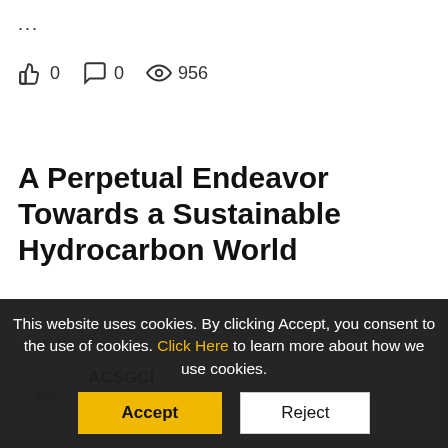...
👍 0   💬 0   👁 956
A Perpetual Endeavor Towards a Sustainable Hydrocarbon World
ACSGCI
Valued Contributor II
10-14-2020 09:42 PM
This website uses cookies. By clicking Accept, you consent to the use of cookies. Click Here to learn more about how we use cookies.